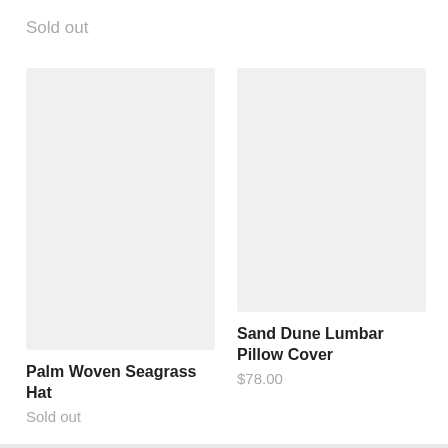Sold out
[Figure (photo): Product image placeholder for Palm Woven Seagrass Hat — light gray rectangle]
Palm Woven Seagrass Hat
Sold out
[Figure (photo): Product image placeholder for Sand Dune Lumbar Pillow Cover — light gray rectangle]
Sand Dune Lumbar Pillow Cover
$78.00